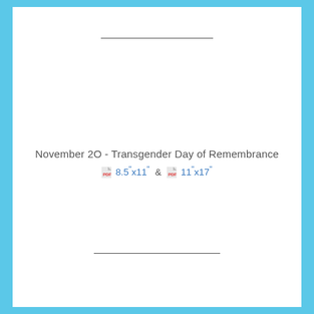November 20 - Transgender Day of Remembrance
8.5"x11" & 11"x17"